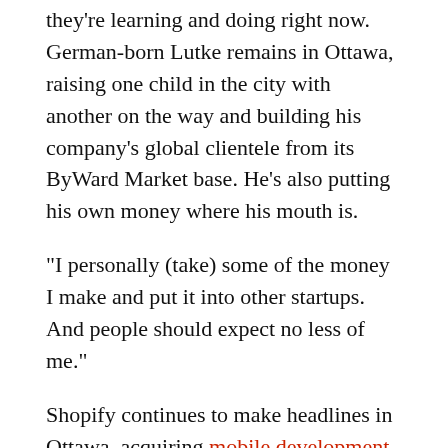they're learning and doing right now. German-born Lutke remains in Ottawa, raising one child in the city with another on the way and building his company's global clientele from its ByWard Market base. He's also putting his own money where his mouth is.
“I personally (take) some of the money I make and put it into other startups. And people should expect no less of me.”
Shopify continues to make headlines in Ottawa, acquiring mobile development firm Select Start just last month. Lutke is optimistic not just about Shopify’s future but about the prospects for Ottawa’s startup community as well.